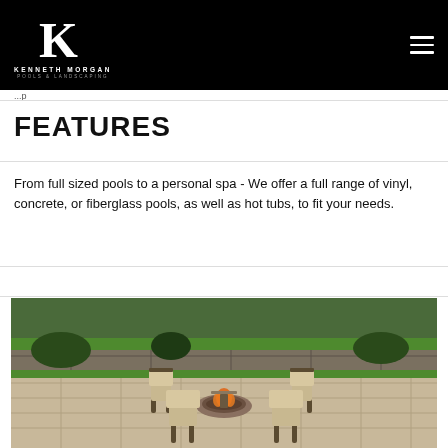Kenneth Morgan Pools & Landscaping
...p
FEATURES
From full sized pools to a personal spa - We offer a full range of vinyl, concrete, or fiberglass pools, as well as hot tubs, to fit your needs.
[Figure (photo): Outdoor patio with patterned stone pavers, a round stone fire pit in the center, four metal outdoor chairs arranged around the fire pit, green lawn and stone retaining wall in the background, with plants and landscaping.]